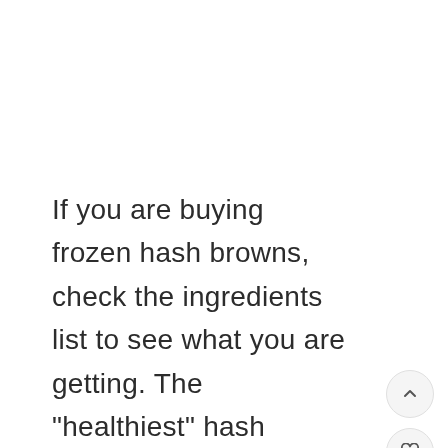If you are buying frozen hash browns, check the ingredients list to see what you are getting. The "healthiest" hash browns will contain shredded or diced vegetables only. I would definitely consider these single-ingredient frozen hash browns to be a healthy food choice. After all, they are just vegetables!